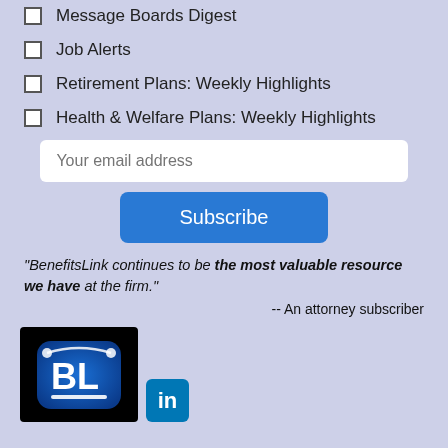Message Boards Digest
Job Alerts
Retirement Plans: Weekly Highlights
Health & Welfare Plans: Weekly Highlights
Your email address
Subscribe
"BenefitsLink continues to be the most valuable resource we have at the firm."
-- An attorney subscriber
[Figure (logo): BenefitsLink BL app icon logo on black background, blue rounded square with BL letters]
[Figure (logo): LinkedIn 'in' icon, blue square with white 'in' text]